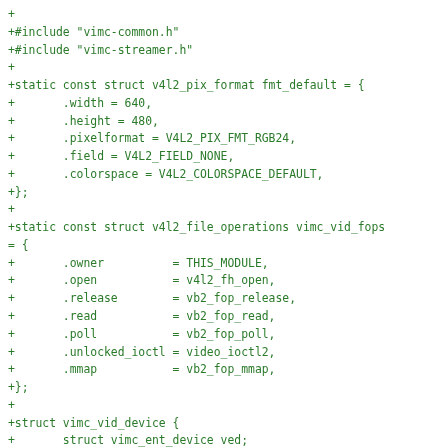+
+#include "vimc-common.h"
+#include "vimc-streamer.h"
+
+static const struct v4l2_pix_format fmt_default = {
+       .width = 640,
+       .height = 480,
+       .pixelformat = V4L2_PIX_FMT_RGB24,
+       .field = V4L2_FIELD_NONE,
+       .colorspace = V4L2_COLORSPACE_DEFAULT,
+};
+
+static const struct v4l2_file_operations vimc_vid_fops
= {
+       .owner          = THIS_MODULE,
+       .open           = v4l2_fh_open,
+       .release        = vb2_fop_release,
+       .read           = vb2_fop_read,
+       .poll           = vb2_fop_poll,
+       .unlocked_ioctl = video_ioctl2,
+       .mmap           = vb2_fop_mmap,
+};
+
+struct vimc_vid_device {
+       struct vimc_ent_device ved;
+       struct video_device vdev;
+       struct device *dev;
+       struct v4l2_pix_format format;
+       struct vb2_queue queue;
+       struct list_head buf_list;